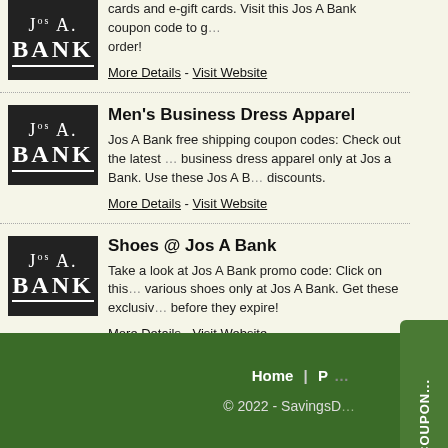cards and e-gift cards. Visit this Jos A Bank coupon code to get your order!
More Details - Visit Website
Men's Business Dress Apparel
Jos A Bank free shipping coupon codes: Check out the latest business dress apparel only at Jos a Bank. Use these Jos A Bank discounts.
More Details - Visit Website
Shoes @ Jos A Bank
Take a look at Jos A Bank promo code: Click on this various shoes only at Jos A Bank. Get these exclusive before they expire!
More Details - Visit Website
Home | P... © 2022 - SavingsD...